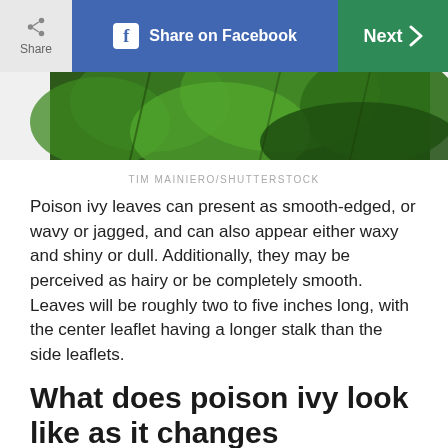Share | Share on Facebook | Next >
[Figure (photo): Close-up photo of green poison ivy leaves with dark background]
TIM MAINIERO/SHUTTERSTOCK
Poison ivy leaves can present as smooth-edged, or wavy or jagged, and can also appear either waxy and shiny or dull. Additionally, they may be perceived as hairy or be completely smooth. Leaves will be roughly two to five inches long, with the center leaflet having a longer stalk than the side leaflets.
What does poison ivy look like as it changes